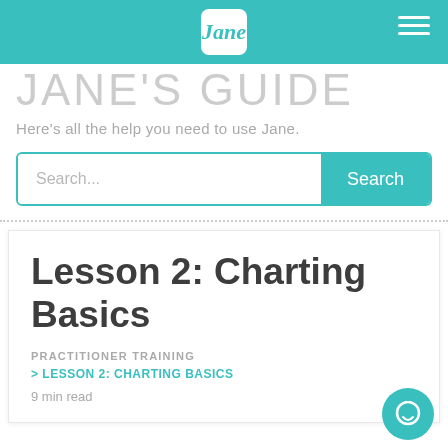Jane
JANE'S GUIDE
Here's all the help you need to use Jane.
Search...
Lesson 2: Charting Basics
PRACTITIONER TRAINING
> LESSON 2: CHARTING BASICS
9 min read